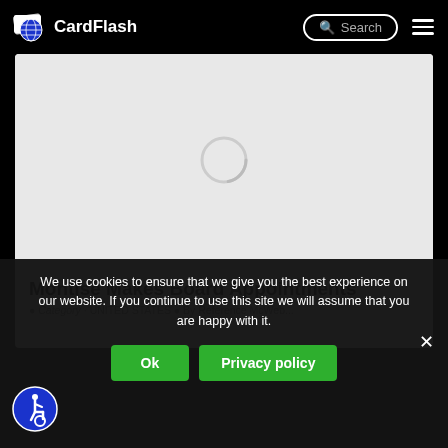CardFlash
[Figure (screenshot): Loading spinner circle on light gray background, article image placeholder]
Montise Makes Board Appointments
We use cookies to ensure that we give you the best experience on our website. If you continue to use this site we will assume that you are happy with it.
Ok | Privacy policy